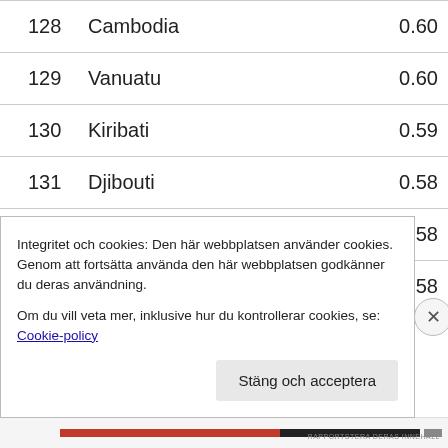| Rank | Country | Value |
| --- | --- | --- |
| 128 | Cambodia | 0.60 |
| 129 | Vanuatu | 0.60 |
| 130 | Kiribati | 0.59 |
| 131 | Djibouti | 0.58 |
| 132 | Malawi | 0.58 |
| 133 | Myanmar | 0.58 |
Integritet och cookies: Den här webbplatsen använder cookies. Genom att fortsätta använda den här webbplatsen godkänner du deras användning. Om du vill veta mer, inklusive hur du kontrollerar cookies, se: Cookie-policy